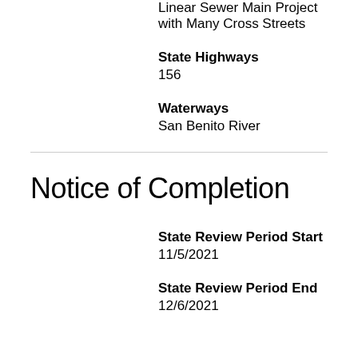Linear Sewer Main Project with Many Cross Streets
State Highways
156
Waterways
San Benito River
Notice of Completion
State Review Period Start
11/5/2021
State Review Period End
12/6/2021